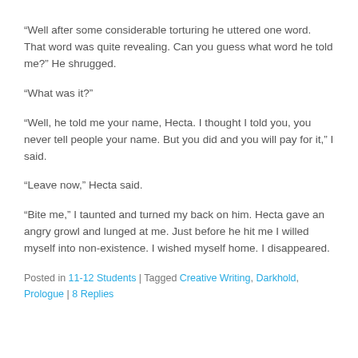“Well after some considerable torturing he uttered one word. That word was quite revealing. Can you guess what word he told me?” He shrugged.
“What was it?”
“Well, he told me your name, Hecta. I thought I told you, you never tell people your name. But you did and you will pay for it,” I said.
“Leave now,” Hecta said.
“Bite me,” I taunted and turned my back on him. Hecta gave an angry growl and lunged at me. Just before he hit me I willed myself into non-existence. I wished myself home. I disappeared.
Posted in 11-12 Students | Tagged Creative Writing, Darkhold, Prologue | 8 Replies